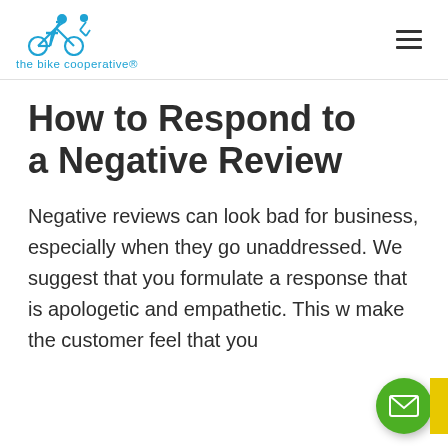the bike cooperative
How to Respond to a Negative Review
Negative reviews can look bad for business, especially when they go unaddressed. We suggest that you formulate a response that is apologetic and empathetic. This w make the customer feel that you